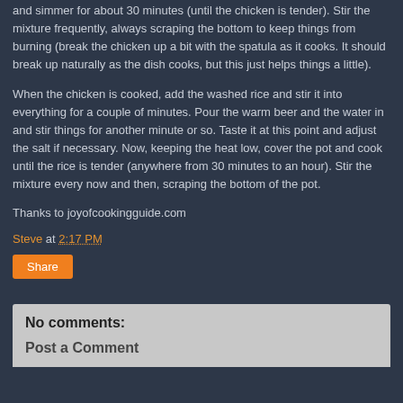and simmer for about 30 minutes (until the chicken is tender). Stir the mixture frequently, always scraping the bottom to keep things from burning (break the chicken up a bit with the spatula as it cooks. It should break up naturally as the dish cooks, but this just helps things a little).
When the chicken is cooked, add the washed rice and stir it into everything for a couple of minutes. Pour the warm beer and the water in and stir things for another minute or so. Taste it at this point and adjust the salt if necessary. Now, keeping the heat low, cover the pot and cook until the rice is tender (anywhere from 30 minutes to an hour). Stir the mixture every now and then, scraping the bottom of the pot.
Thanks to joyofcookingguide.com
Steve at 2:17 PM
Share
No comments:
Post a Comment